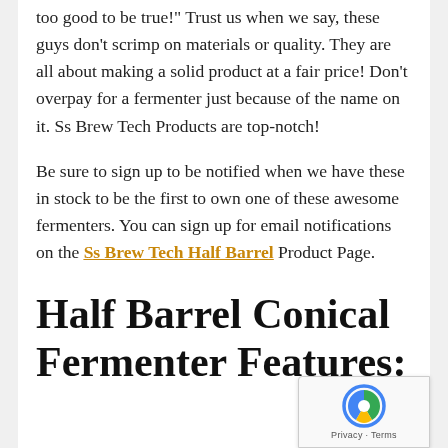too good to be true!"  Trust us when we say, these guys don't scrimp on materials or quality.  They are all about making a solid product at a fair price!  Don't overpay for a fermenter just because of the name on it.  Ss Brew Tech Products are top-notch!
Be sure to sign up to be notified when we have these in stock to be the first to own one of these awesome fermenters.  You can sign up for email notifications on the Ss Brew Tech Half Barrel Product Page.
Half Barrel Conical Fermenter Features: